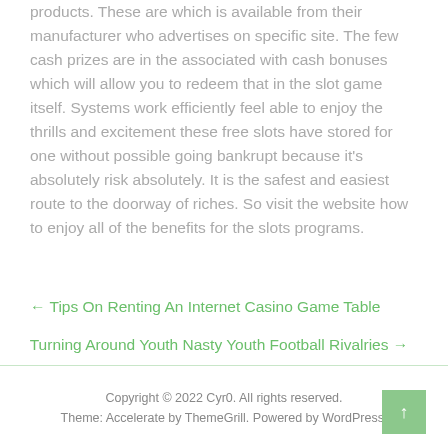products. These are which is available from their manufacturer who advertises on specific site. The few cash prizes are in the associated with cash bonuses which will allow you to redeem that in the slot game itself. Systems work efficiently feel able to enjoy the thrills and excitement these free slots have stored for one without possible going bankrupt because it's absolutely risk absolutely. It is the safest and easiest route to the doorway of riches. So visit the website how to enjoy all of the benefits for the slots programs.
← Tips On Renting An Internet Casino Game Table
Turning Around Youth Nasty Youth Football Rivalries →
Copyright © 2022 Cyr0. All rights reserved.
Theme: Accelerate by ThemeGrill. Powered by WordPress.